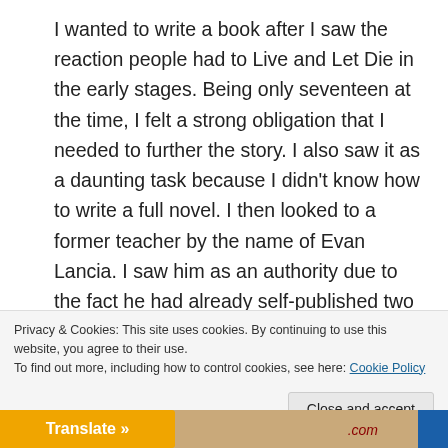I wanted to write a book after I saw the reaction people had to Live and Let Die in the early stages. Being only seventeen at the time, I felt a strong obligation that I needed to further the story. I also saw it as a daunting task because I didn't know how to write a full novel. I then looked to a former teacher by the name of Evan Lancia. I saw him as an authority due to the fact he had already self-published two collections of poetry. When I told him that I wanted to turn Live and Let Die into a book; he
Privacy & Cookies: This site uses cookies. By continuing to use this website, you agree to their use.
To find out more, including how to control cookies, see here: Cookie Policy
Close and accept
Translate »